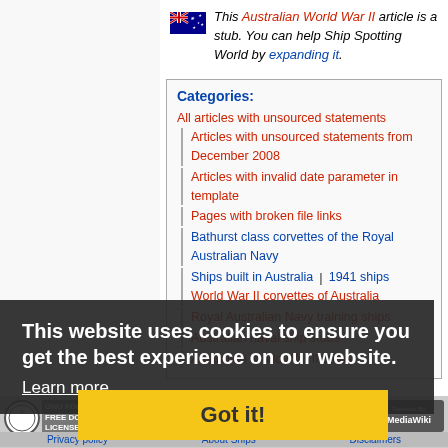This Australian World War II article is a stub. You can help Ship Spotting World by expanding it.
Categories: All articles with unsourced statements | Articles with unsourced statements from December 2008 | Articles with invalid date parameter in template | Pages with broken file links | Bathurst class corvettes of the Royal Australian Navy | Ships built in Australia | 1941 ships | World War II corvettes of Australia | Royal Australian Navy training ships | Australian naval ship stubs | Australian World War II stubs
This website uses cookies to ensure you get the best experience on our website. Learn more
Got it!
This page was last edited on 10 July 2010, at 15.07. Content is available under GNU Free Documentation License 1.2 unless otherwise noted. Privacy policy About Ships Disclaimers